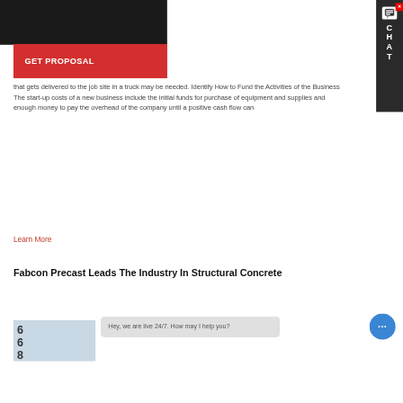[Figure (screenshot): Website screenshot showing a GET PROPOSAL button, body text about business funding, a Learn More link, and a section heading about Fabcon Precast, with chat widgets visible]
that gets delivered to the job site in a truck may be needed. Identify How to Fund the Activities of the Business The start-up costs of a new business include the initial funds for purchase of equipment and supplies and enough money to pay the overhead of the company until a positive cash flow can
Learn More
Fabcon Precast Leads The Industry In Structural Concrete
Hey, we are live 24/7. How may I help you?